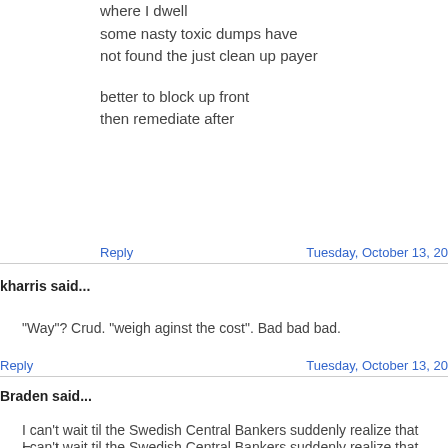where I dwell
some nasty toxic dumps have
not found the just clean up payer

better to block up front
then remediate after
Reply | Tuesday, October 13, 20...
kharris said...
"Way"? Crud. "weigh aginst the cost". Bad bad bad.
Reply | Tuesday, October 13, 20...
Braden said...
I can't wait til the Swedish Central Bankers suddenly realize that Freud w... actually constructing an alternative model for developing non-rational, ca... preferences and suddenly the entire field of psychology becomes subsu... economics. Oh wait, I guess it already has... Kudos to you, behavioral e...
Seriously, there are people called psychologists and sociologists. Some... actually use math! (I know, I was pretty skeptical at first.) In fact, many o... work next to these people. Oddly enough, they are also being granted te...